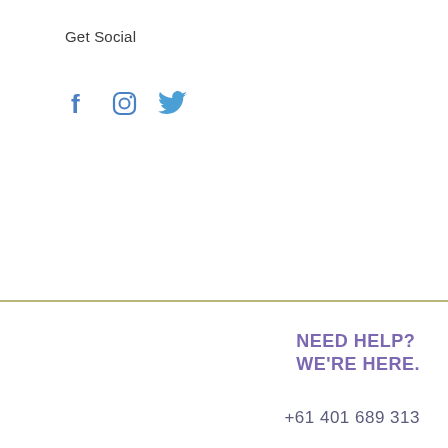Get Social
[Figure (illustration): Social media icons: Facebook (f), Instagram (camera), Twitter (bird) in blue color]
NEED HELP?
WE'RE HERE.
+61 401 689 313